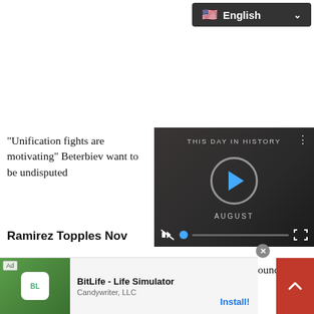English
"Unification fights are motivating" Beterbiev want to be undisputed
[Figure (screenshot): THIS DAY IN HISTORY video player overlay with play button, mute icon, progress bar, AUGUST label, and fullscreen button]
Ramirez Topples Nov
Cuban southpaw star Robeisy Ramirez (10-1, 6 KOs) announced his presence as a featherweight con in a b kno (a
[Figure (screenshot): Ad banner: BitLife - Life Simulator by Candywriter, LLC with Install! button and green app icon. Ad label visible.]